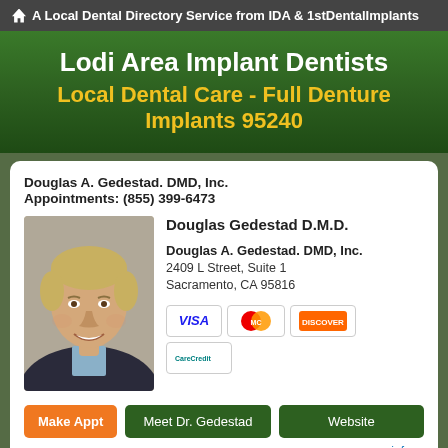A Local Dental Directory Service from IDA & 1stDentalImplants
Lodi Area Implant Dentists
Local Dental Care - Full Denture Implants 95240
Douglas A. Gedestad. DMD, Inc.
Appointments: (855) 399-6473
[Figure (photo): Portrait photo of Douglas Gedestad, a middle-aged man with blonde hair, smiling, wearing a dark jacket]
Douglas Gedestad D.M.D.
Douglas A. Gedestad. DMD, Inc.
2409 L Street, Suite 1
Sacramento, CA 95816
[Figure (other): Payment method icons: VISA, MasterCard, Discover, CareCredit]
Make Appt   Meet Dr. Gedestad   Website
more info ...